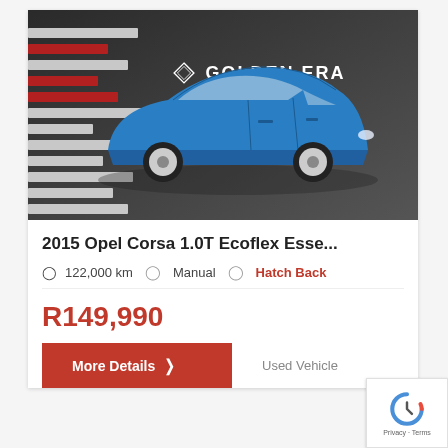[Figure (photo): Blue Opel Corsa hatchback car displayed in a dealership showroom with Golden Era Motors branding/logo visible in the background. The showroom has decorative red and white horizontal stripes on the left wall and a grey tile floor.]
2015 Opel Corsa 1.0T Ecoflex Esse...
122,000 km  |  Manual  |  Hatch Back
R149,990
More Details
Used Vehicle